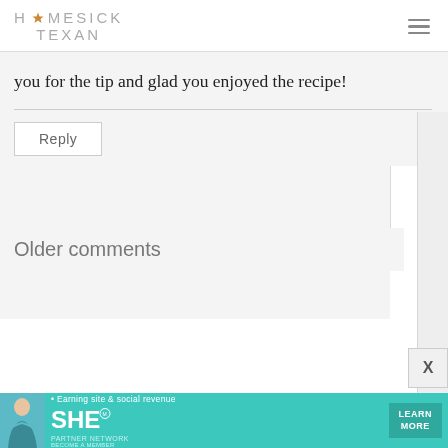HOMESICK TEXAN
you for the tip and glad you enjoyed the recipe!
Reply
Older comments